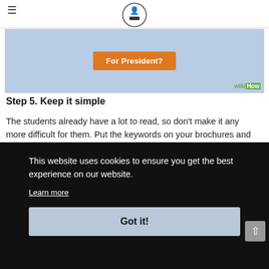wikiHow logo header with hamburger menu
[Figure (screenshot): WikiHow article image showing 'For President?' orange button on blue polka-dot background with wikiHow watermark]
Step 5. Keep it simple
The students already have a lot to read, so don't make it any more difficult for them. Put the keywords on your brochures and posters in bold. Use bright, visible colors and avoid choosing a
This website uses cookies to ensure you get the best experience on our website.
Learn more
Got it!